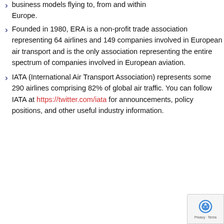business models flying to, from and within Europe.
Founded in 1980, ERA is a non-profit trade association representing 64 airlines and 149 companies involved in European air transport and is the only association representing the entire spectrum of companies involved in European aviation.
IATA (International Air Transport Association) represents some 290 airlines comprising 82% of global air traffic. You can follow IATA at https://twitter.com/iata for announcements, policy positions, and other useful industry information.